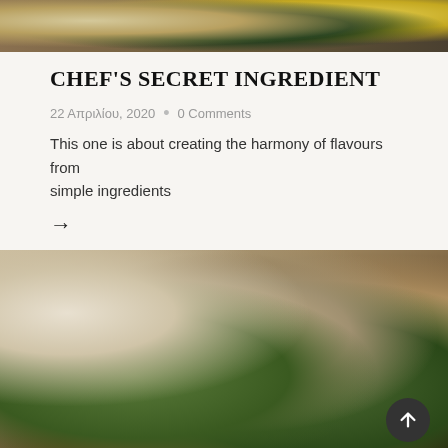[Figure (photo): Top portion of a food photo showing baked goods with seeds, a dark vegetable, and a yellow citrus wedge on a dark background]
CHEF'S SECRET INGREDIENT
22 Απριλίου, 2020  •  0 Comments
This one is about creating the harmony of flavours from simple ingredients
→
[Figure (photo): Close-up photo of elegant canape appetizers with prosciutto, mozzarella, arugula and tomato on toast, skewered with gold toothpicks, arranged on a wooden board with parchment paper]